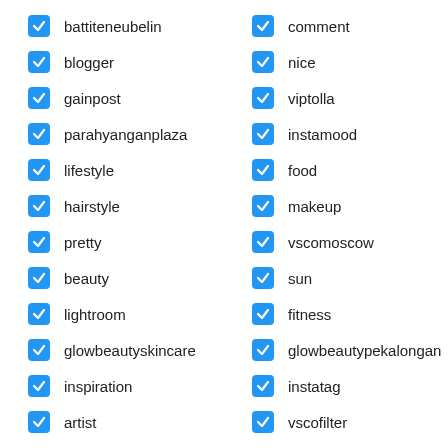battiteneubelin
comment
blogger
nice
gainpost
viptolla
parahyanganplaza
instamood
lifestyle
food
hairstyle
makeup
pretty
vscomoscow
beauty
sun
lightroom
fitness
glowbeautyskincare
glowbeautypekalongan
inspiration
instatag
artist
vscofilter